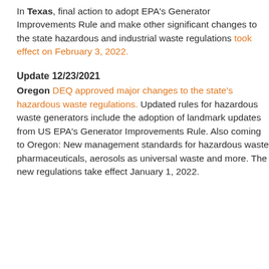In Texas, final action to adopt EPA's Generator Improvements Rule and make other significant changes to the state hazardous and industrial waste regulations took effect on February 3, 2022.
Update 12/23/2021
Oregon DEQ approved major changes to the state's hazardous waste regulations. Updated rules for hazardous waste generators include the adoption of landmark updates from US EPA's Generator Improvements Rule. Also coming to Oregon: New management standards for hazardous waste pharmaceuticals, aerosols as universal waste and more. The new regulations take effect January 1, 2022.